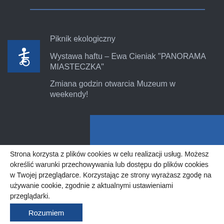[Figure (infographic): Blue accessibility wheelchair icon on dark blue square background]
Piknik ekologiczny
Wystawa haftu – Ewa Cieniak "PANORAMA MIASTECZKA"
Zmiana godzin otwarcia Muzeum w weekendy!
Strona korzysta z plików cookies w celu realizacji usług. Możesz określić warunki przechowywania lub dostępu do plików cookies w Twojej przeglądarce. Korzystając ze strony wyrażasz zgodę na używanie cookie, zgodnie z aktualnymi ustawieniami przeglądarki.
Rozumiem